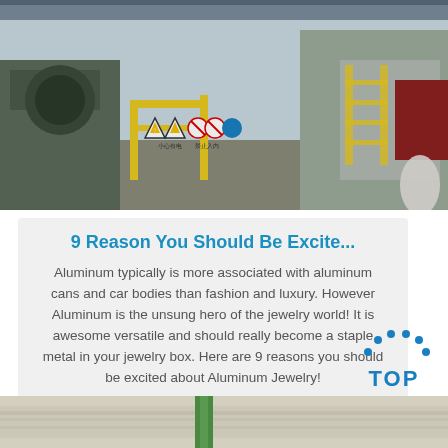[Figure (photo): Industrial factory floor with machinery, safety warning signs (black/white triangular and red prohibited symbols), yellow metal railings, stairs, and industrial equipment in background.]
9 Reason You Should Be Excite...
Aluminum typically is more associated with aluminum cans and car bodies than fashion and luxury. However Aluminum is the unsung hero of the jewelry world! It is awesome versatile and should really become a staple metal in your jewelry box. Here are 9 reasons you should be excited about Aluminum Jewelry!
Get Price
[Figure (logo): TOP badge with blue dots arranged in arc above blue bold text TOP]
[Figure (photo): Close-up of aluminum or steel coil/roll with green strap, light colored metal surface.]